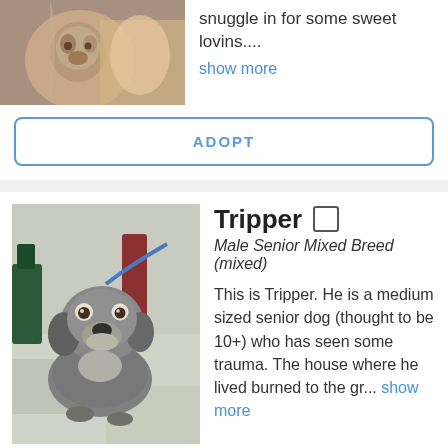[Figure (photo): Partial view of a small animal (puppy) being held, cut off at top of page]
snuggle in for some sweet lovins....
show more
ADOPT
[Figure (photo): A senior mixed breed dog named Tripper, gray and white, on a leash in what appears to be a shelter or vet office]
Tripper
Male Senior Mixed Breed (mixed)
This is Tripper. He is a medium sized senior dog (thought to be 10+) who has seen some trauma. The house where he lived burned to the gr... show more
ADOPT